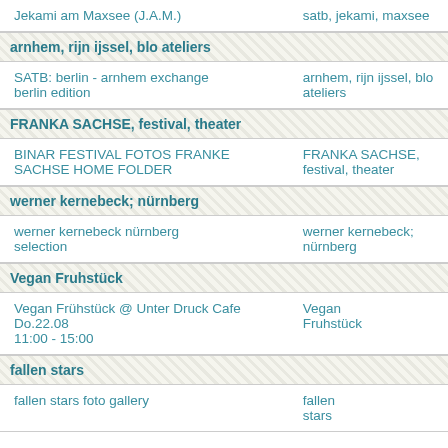Jekami am Maxsee (J.A.M.) | satb, jekami, maxsee
arnhem, rijn ijssel, blo ateliers
SATB: berlin - arnhem exchange berlin edition | arnhem, rijn ijssel, blo ateliers
FRANKA SACHSE, festival, theater
BINAR FESTIVAL FOTOS FRANKE SACHSE HOME FOLDER | FRANKA SACHSE, festival, theater
werner kernebeck; nürnberg
werner kernebeck nürnberg selection | werner kernebeck; nürnberg
Vegan Fruhstück
Vegan Frühstück @ Unter Druck Cafe Do.22.08 11:00 - 15:00 | Vegan Fruhstück
fallen stars
fallen stars foto gallery | fallen stars